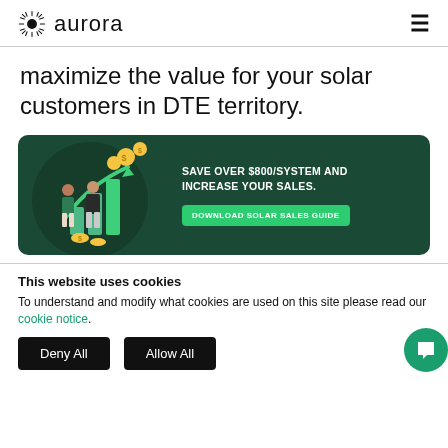aurora
maximize the value for your solar customers in DTE territory.
[Figure (infographic): Dark green banner with illustration of two people (a woman and a man) in front of rising bar chart with coins/money symbols and green arrow going up. Text reads: SAVE OVER $800/SYSTEM AND INCREASE YOUR SALES. Button: DOWNLOAD SOLAR SALES GUIDE]
This website uses cookies
To understand and modify what cookies are used on this site please read our cookie notice.
Deny All
Allow All